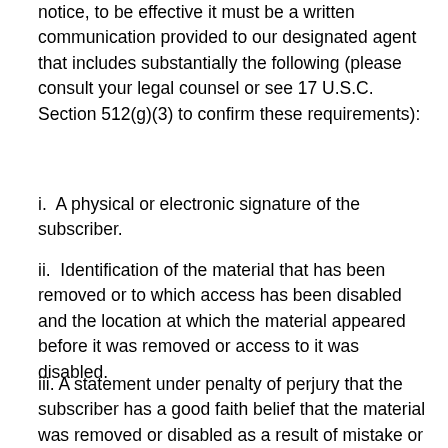notice, to be effective it must be a written communication provided to our designated agent that includes substantially the following (please consult your legal counsel or see 17 U.S.C. Section 512(g)(3) to confirm these requirements):
i.  A physical or electronic signature of the subscriber.
ii.  Identification of the material that has been removed or to which access has been disabled and the location at which the material appeared before it was removed or access to it was disabled.
iii. A statement under penalty of perjury that the subscriber has a good faith belief that the material was removed or disabled as a result of mistake or misidentification of the material to be removed or disabled.